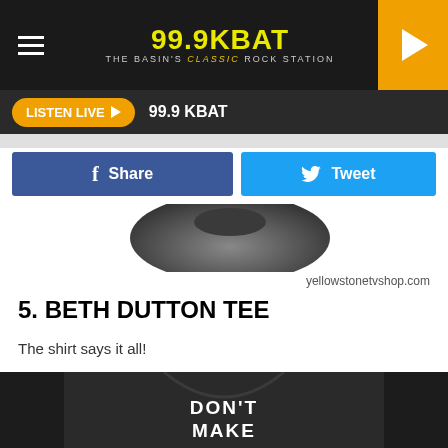99.9 KBAT - The Basin's Classic Rock Station
LISTEN LIVE ▶  99.9 KBAT
f Share
Tweet
[Figure (photo): Partial view of a dark product item, top portion visible]
yellowstonetvshop.com
5. BETH DUTTON TEE
The shirt says it all!
[Figure (photo): Black t-shirt with text reading DON'T MAKE visible at bottom, ornate lettering]